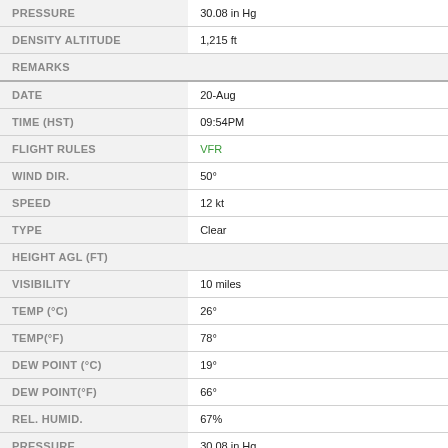| Field | Value |
| --- | --- |
| PRESSURE | 30.08 in Hg |
| DENSITY ALTITUDE | 1,215 ft |
| REMARKS |  |
| DATE | 20-Aug |
| TIME (HST) | 09:54PM |
| FLIGHT RULES | VFR |
| WIND DIR. | 50° |
| SPEED | 12 kt |
| TYPE | Clear |
| HEIGHT AGL (FT) |  |
| VISIBILITY | 10 miles |
| TEMP (°C) | 26° |
| TEMP(°F) | 78° |
| DEW POINT (°C) | 19° |
| DEW POINT(°F) | 66° |
| REL. HUMID. | 67% |
| PRESSURE | 30.08 in Hg |
| DENSITY ALTITUDE | 1,215 ft |
| REMARKS |  |
| DATE | 20-Aug |